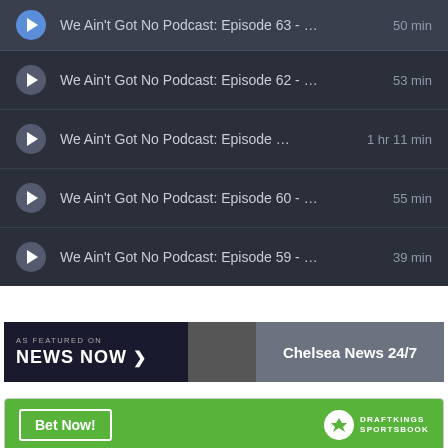We Ain't Got No Podcast: Episode 63 - … 50 min
We Ain't Got No Podcast: Episode 62 - … 53 min
We Ain't Got No Podcast: Episode … 1 hr 11 min
We Ain't Got No Podcast: Episode 60 - … 55 min
We Ain't Got No Podcast: Episode 59 - … 39 min
[Figure (screenshot): News Now banner with 'AS FEATURED ON NEWS NOW >' logo on dark background and 'Chelsea News 24/7' text on grey background]
[Figure (infographic): DraftKings Sportsbook betting widget showing CHE vs DINZ on Tue 4:45p with SPREAD odds of -1.5 (+135) and +1.5 (-185)]